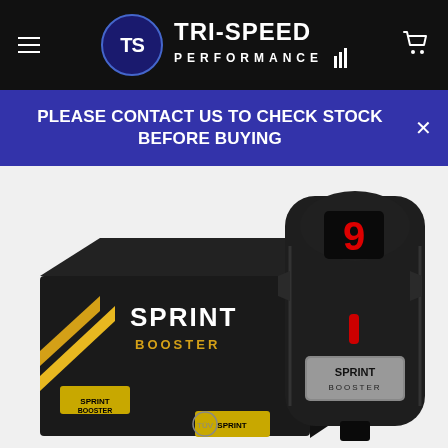[Figure (logo): Tri-Speed Performance logo with stylized TS emblem in circle and TRI-SPEED PERFORMANCE text with racing stripes, white on black background]
PLEASE CONTACT US TO CHECK STOCK BEFORE BUYING
[Figure (photo): Sprint Booster product photo showing black product box with yellow diagonal stripes and Sprint Booster branding, alongside the Sprint Booster device which is a black throttle response controller with a red digital display showing 9 and Sprint Booster badge]